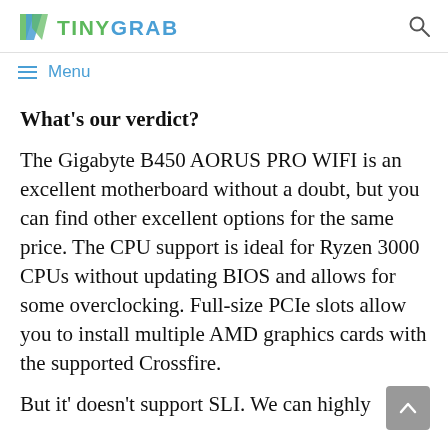TINYGRAB
Menu
What's our verdict?
The Gigabyte B450 AORUS PRO WIFI is an excellent motherboard without a doubt, but you can find other excellent options for the same price. The CPU support is ideal for Ryzen 3000 CPUs without updating BIOS and allows for some overclocking. Full-size PCIe slots allow you to install multiple AMD graphics cards with the supported Crossfire.
But it' doesn't support SLI. We can highly